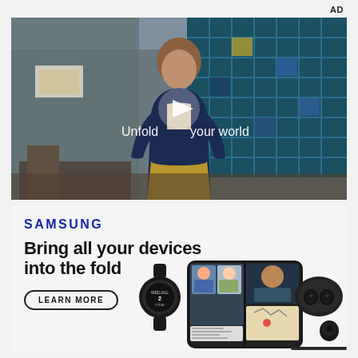AD
[Figure (screenshot): Video thumbnail showing a young man walking in a school cafeteria with a teal grid window wall behind him. A white play button triangle is overlaid in the center. Text overlay reads 'Unfold your world'.]
[Figure (illustration): Samsung advertisement bottom section. Samsung logo in blue, headline 'Bring all your devices into the fold', Learn More button, and product images of Samsung Galaxy Watch, Galaxy Z Fold smartphone showing video call, and Galaxy Buds earbuds case.]